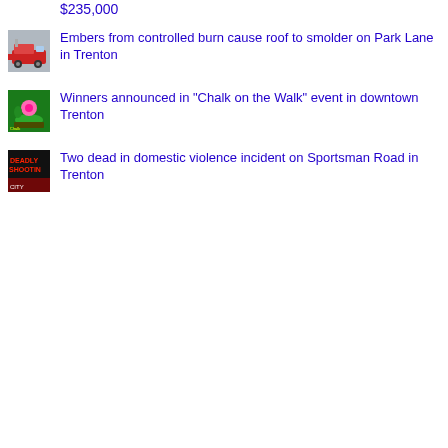$235,000
Embers from controlled burn cause roof to smolder on Park Lane in Trenton
Winners announced in "Chalk on the Walk" event in downtown Trenton
Two dead in domestic violence incident on Sportsman Road in Trenton